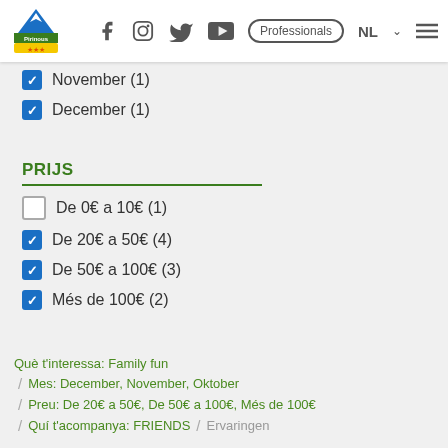Pirinous logo | f | Instagram | YouTube | Professionals | NL | menu
November (1) — checked
December (1) — checked
PRIJS
De 0€ a 10€ (1) — unchecked
De 20€ a 50€ (4) — checked
De 50€ a 100€ (3) — checked
Més de 100€ (2) — checked
Què t'interessa: Family fun
/ Mes: December, November, Oktober
/ Preu: De 20€ a 50€, De 50€ a 100€, Més de 100€
/ Quí t'acompanya: FRIENDS / Ervaringen